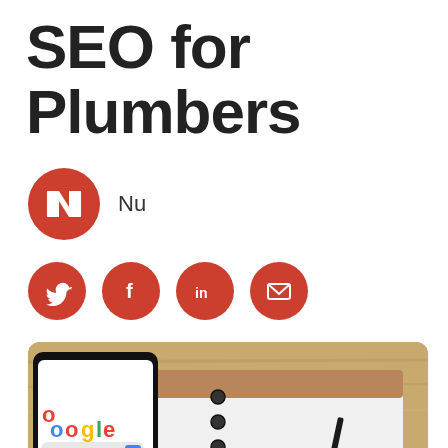SEO for Plumbers
[Figure (logo): Red circular logo with white letter N U inside, representing the author or brand]
Nu
[Figure (infographic): Four red circular social media icons: Twitter, Facebook, LinkedIn, Email]
[Figure (photo): Photo of a hand holding a smartphone showing Google search page, next to a spiral notebook with a pen, on a wooden desk background. A red chat bubble icon appears in the bottom right corner.]